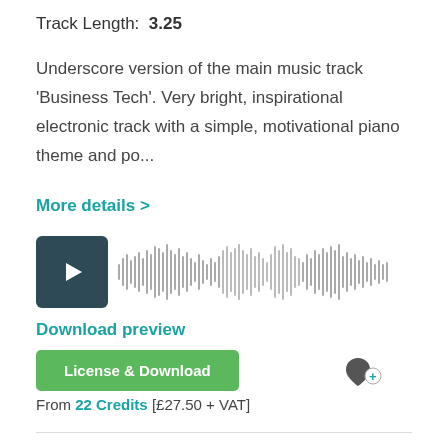Track Length: 3.25
Underscore version of the main music track 'Business Tech'. Very bright, inspirational electronic track with a simple, motivational piano theme and po...
More details >
[Figure (other): Audio player with dark teal play button and grey waveform visualization]
Download preview
License & Download
From 22 Credits [£27.50 + VAT]
Clear Horizons